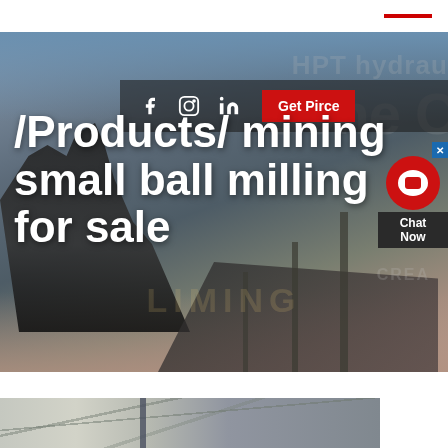[Figure (photo): Industrial mining facility with heavy machinery, conveyors, and equipment at an open-air site under a blue sky. Background watermark text reads 'HPT hydraulic cone crusher' and 'LIMING INCREASE'.]
/Products/ mining small ball milling for sale
Get Pirce
Chat Now
[Figure (photo): Interior of an industrial building showing roof structure and suspended equipment.]